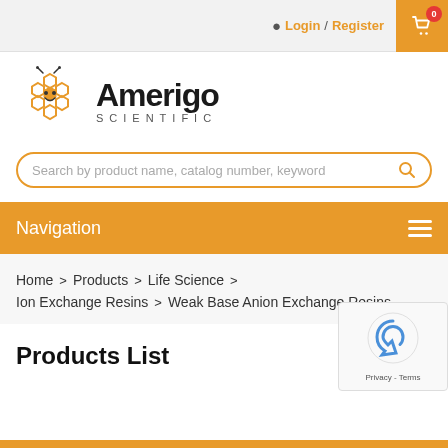Login / Register  0
[Figure (logo): Amerigo Scientific logo — bee/flower hexagon shape in orange with text Amerigo Scientific]
Search by product name, catalog number, keyword
Navigation
Home > Products > Life Science > Ion Exchange Resins > Weak Base Anion Exchange Resins
Products List